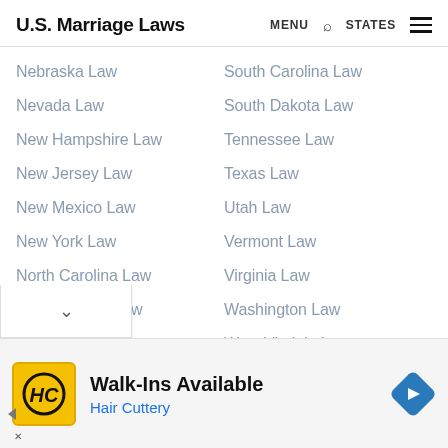U.S. Marriage Laws  MENU  🔍  STATES  ☰
Nebraska Law
South Carolina Law
Nevada Law
South Dakota Law
New Hampshire Law
Tennessee Law
New Jersey Law
Texas Law
New Mexico Law
Utah Law
New York Law
Vermont Law
North Carolina Law
Virginia Law
North Dakota Law
Washington Law
Ohio Law (partial)
West Virginia Law
[Figure (other): Hair Cuttery advertisement banner with yellow HC logo, Walk-Ins Available headline, and blue navigation arrow icon]